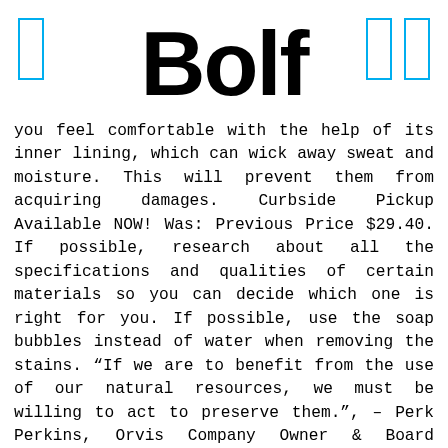BOLF
you feel comfortable with the help of its inner lining, which can wick away sweat and moisture. This will prevent them from acquiring damages. Curbside Pickup Available NOW! Was: Previous Price $29.40. If possible, research about all the specifications and qualities of certain materials so you can decide which one is right for you. If possible, use the soap bubbles instead of water when removing the stains. “If we are to benefit from the use of our natural resources, we must be willing to act to preserve them.”, – Perk Perkins, Orvis Company Owner & Board Member. Fishing gloves are designed for various fishing conditions and weather. I think the fact that this product is glued is also a big advantage as it offers comfort. Waterproof ski gloves are a lifesaver in extreme snowstorms. £2.40 postage. / I am also very happy to introduce this waterproof work glove from Vgo. It is oil and water-resistant plus it has an improved grip, making users feel truly comfortable. The grip provides a tactile hand feel, so you